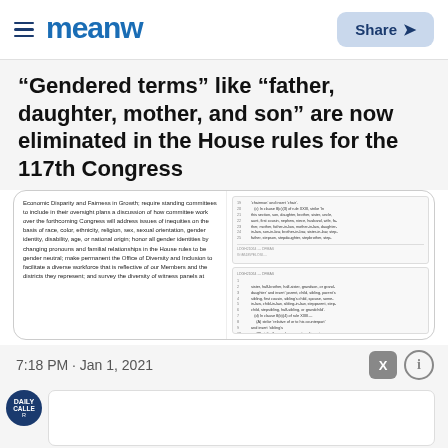Meaww | Share
“Gendered terms” like “father, daughter, mother, and son” are now eliminated in the House rules for the 117th Congress
[Figure (screenshot): Screenshot of a government document page showing House rules text about economic disparity, fairness, gender neutral language, alongside a second column of numbered lines from the document]
7:18 PM · Jan 1, 2021
[Figure (screenshot): Daily Caller avatar and empty comment/reply text box]